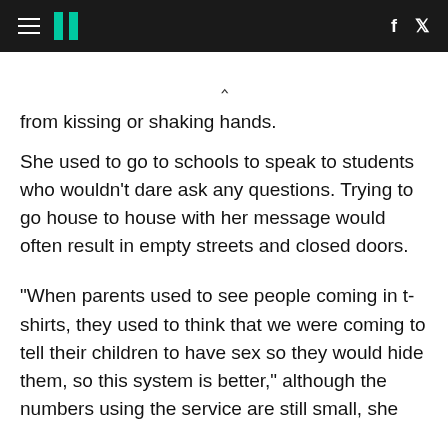HuffPost navigation header with hamburger menu, logo, Facebook and Twitter icons
from kissing or shaking hands.
She used to go to schools to speak to students who wouldn’t dare ask any questions. Trying to go house to house with her message would often result in empty streets and closed doors.
“When parents used to see people coming in t-shirts, they used to think that we were coming to tell their children to have sex so they would hide them, so this system is better,” although the numbers using the service are still small, she